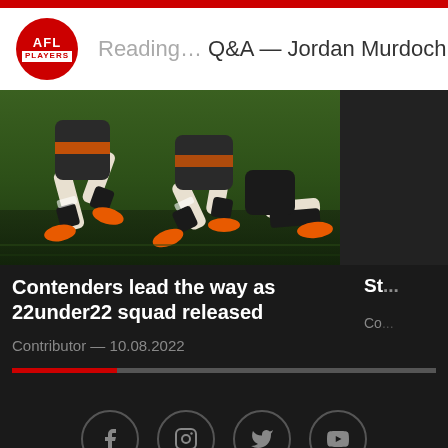Reading… Q&A — Jordan Murdoch
[Figure (photo): AFL players' legs running on green grass field during match]
Contenders lead the way as 22under22 squad released
Contributor — 10.08.2022
[Figure (infographic): Social media icons: Facebook, Instagram, Twitter, YouTube]
AFLPA  Home  COMPANY  About Us